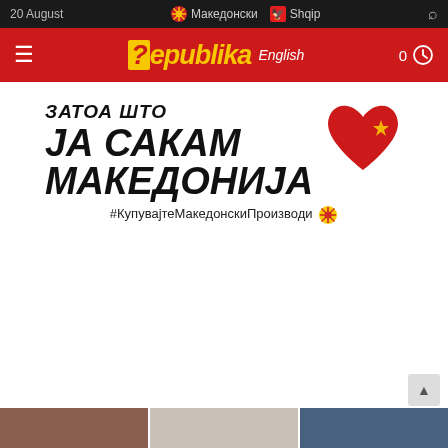20 August  Македонски  Shqip
[Figure (logo): Republika English news site logo on red header bar with hamburger menu]
[Figure (infographic): Campaign banner: ЗАТОА ШТО ЈА САКАМ МАКЕДОНИЈА with red heart graphic and hashtag #КупувајтеМакедонскиПроизводи]
[Figure (photo): Three partially visible thumbnail images at bottom of page]